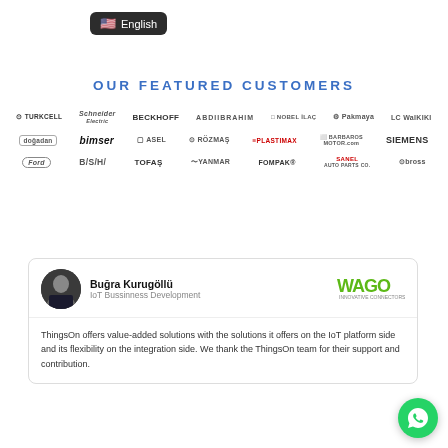[Figure (screenshot): English language selector button with US flag icon on dark background]
OUR FEATURED CUSTOMERS
[Figure (logo): Grid of company logos: Turkcell, Schneider Electric, Beckhoff, AbdiIbrahim, Nobel Ilac, Pakmaya, LC Waikiki, Dogandan, Bimser, ASEL, Rozmas, Plastimax, Barbaros Motor, Siemens, Ford, B/S/H/, TOFAS, Yanmar, Fompak, Sanel, Bross]
[Figure (photo): Testimonial card from Bugra Kurugollu, IoT Business Development at WAGO. Text: ThingsOn offers value-added solutions with the solutions it offers on the IoT platform side and its flexibility on the integration side. We thank the ThingsOn team for their support and contribution.]